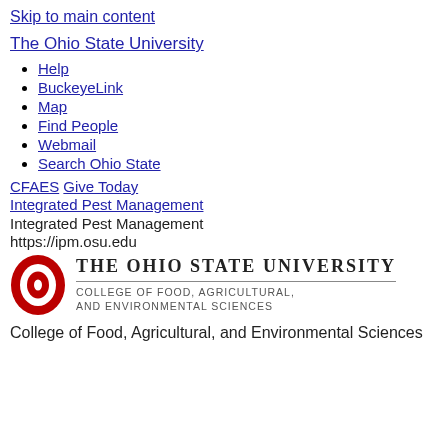Skip to main content
The Ohio State University
Help
BuckeyeLink
Map
Find People
Webmail
Search Ohio State
CFAES Give Today
Integrated Pest Management
Integrated Pest Management
https://ipm.osu.edu
[Figure (logo): The Ohio State University College of Food, Agricultural, and Environmental Sciences logo with red O and wordmark]
College of Food, Agricultural, and Environmental Sciences